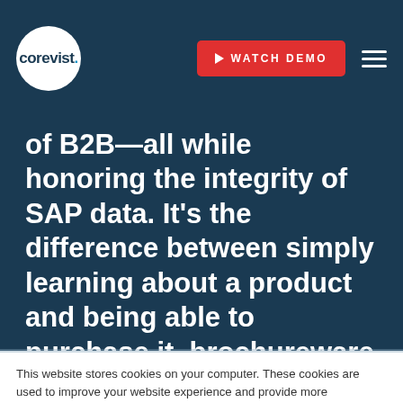[Figure (logo): Corevist logo: white circle with 'corevist.' text in dark blue]
of B2B—all while honoring the integrity of SAP data. It's the difference between simply learning about a product and being able to purchase it–brochureware vs. ecommerce.
This website stores cookies on your computer. These cookies are used to improve your website experience and provide more personalized services to you, both on this website and through other media. To find out more about the cookies we use, see our Privacy Policy.
We won't track your information when you visit our site. But in order to comply with your preferences, we'll have to use just one tiny cookie so that you're not asked to make this choice again.